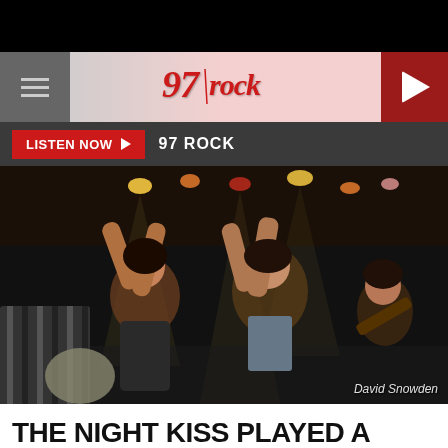[Figure (screenshot): 97 Rock radio station website header with hamburger menu, 97 Rock logo in red italic script, and red play button circle on right]
LISTEN NOW ▶  97 ROCK
[Figure (photo): Concert photo of rock musicians on stage with arms raised, dramatic stage lighting, credited to David Snowden]
David Snowden
THE NIGHT KISS PLAYED A SHOW